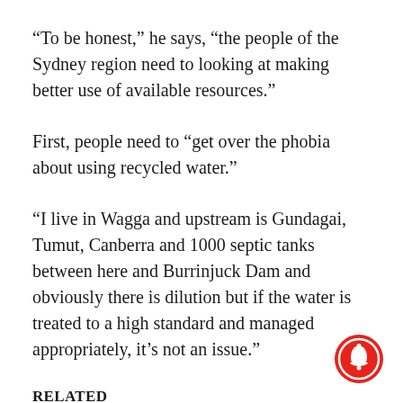“To be honest,” he says, “the people of the Sydney region need to looking at making better use of available resources.”
First, people need to “get over the phobia about using recycled water.”
“I live in Wagga and upstream is Gundagai, Tumut, Canberra and 1000 septic tanks between here and Burrinjuck Dam and obviously there is dilution but if the water is treated to a high standard and managed appropriately, it’s not an issue.”
RELATED